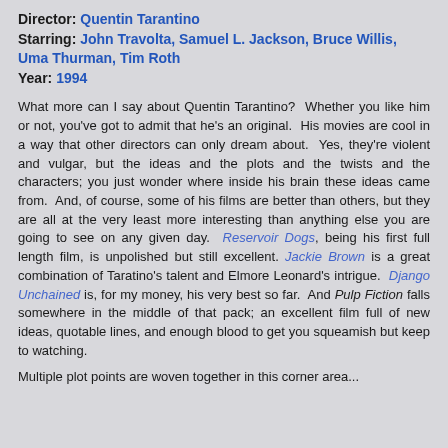Director: Quentin Tarantino
Starring: John Travolta, Samuel L. Jackson, Bruce Willis, Uma Thurman, Tim Roth
Year: 1994
What more can I say about Quentin Tarantino? Whether you like him or not, you've got to admit that he's an original. His movies are cool in a way that other directors can only dream about. Yes, they're violent and vulgar, but the ideas and the plots and the twists and the characters; you just wonder where inside his brain these ideas came from. And, of course, some of his films are better than others, but they are all at the very least more interesting than anything else you are going to see on any given day. Reservoir Dogs, being his first full length film, is unpolished but still excellent. Jackie Brown is a great combination of Taratino's talent and Elmore Leonard's intrigue. Django Unchained is, for my money, his very best so far. And Pulp Fiction falls somewhere in the middle of that pack; an excellent film full of new ideas, quotable lines, and enough blood to get you squeamish but keep to watching.
Multiple plot points are woven together in this corner area...